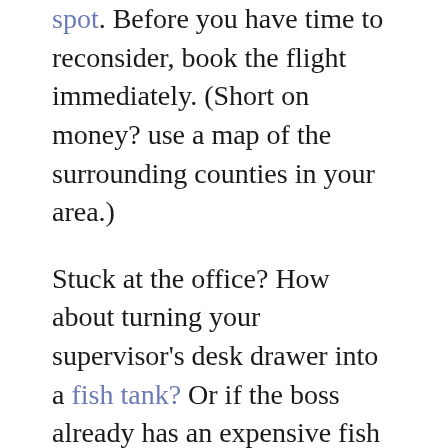spot. Before you have time to reconsider, book the flight immediately. (Short on money? use a map of the surrounding counties in your area.)
Stuck at the office? How about turning your supervisor's desk drawer into a fish tank? Or if the boss already has an expensive fish tank that he spends an inordinate amount of time tending to, put a plastic figurine of a skeleton in it and see how long it takes him to notice.*
Of course, if you decide to tell your friends about your actions, prepare for